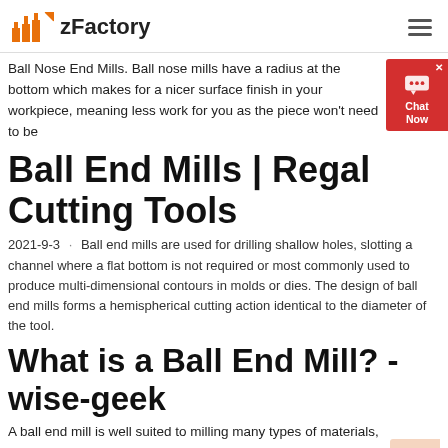zFactory
Ball Nose End Mills. Ball nose mills have a radius at the bottom which makes for a nicer surface finish in your workpiece, meaning less work for you as the piece won't need to be
Ball End Mills | Regal Cutting Tools
2021-9-3 · Ball end mills are used for drilling shallow holes, slotting a channel where a flat bottom is not required or most commonly used to produce multi-dimensional contours in molds or dies. The design of ball end mills forms a hemispherical cutting action identical to the diameter of the tool.
What is a Ball End Mill? - wise-geek
A ball end mill is well suited to milling many types of materials, from plastics to steel alloys and titanium. The toughness and durability of the